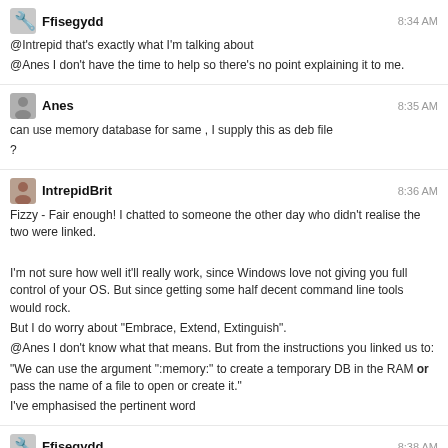Ffisegydd 8:34 AM
@Intrepid that's exactly what I'm talking about
@Anes I don't have the time to help so there's no point explaining it to me.
Anes 8:35 AM
can use memory database for same , I supply this as deb file
?
IntrepidBrit 8:36 AM
Fizzy - Fair enough! I chatted to someone the other day who didn't realise the two were linked.

I'm not sure how well it'll really work, since Windows love not giving you full control of your OS. But since getting some half decent command line tools would rock.
But I do worry about "Embrace, Extend, Extinguish".
@Anes I don't know what that means. But from the instructions you linked us to:
"We can use the argument ":memory:" to create a temporary DB in the RAM or pass the name of a file to open or create it."
I've emphasised the pertinent word
Ffisegydd 8:38 AM
@IntrepidBrit I think it's a good step forward personally, but then I use Windows the majority of the time so it's a win from my point of view.
IntrepidBrit 8:39 AM
I currently am stuck developing on Windows, because every Linux distro is now crashing my work computer
(apparently there's something in the nouveau drivers that's doing it)